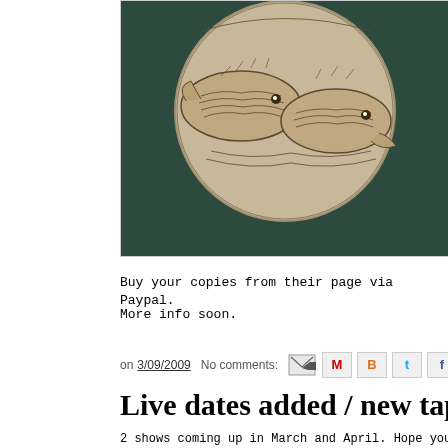[Figure (illustration): Dark green background with circular engraved illustration showing fish or sea creatures in a detailed woodcut/etching style]
Buy your copies from their page via Paypal.
More info soon.
on 3/09/2009  No comments:
Live dates added / new tape release
2 shows coming up in March and April. Hope you can make it along...
[Figure (illustration): White box with UNICORN HARD text in large serif letters]